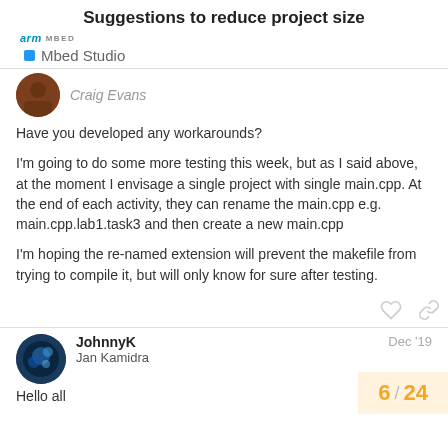Suggestions to reduce project size
arm MBED  ▪  Mbed Studio
Craig Evans
Have you developed any workarounds?

I'm going to do some more testing this week, but as I said above, at the moment I envisage a single project with single main.cpp. At the end of each activity, they can rename the main.cpp e.g. main.cpp.lab1.task3 and then create a new main.cpp

I'm hoping the re-named extension will prevent the makefile from trying to compile it, but will only know for sure after testing.
JohnnyK
Jan Kamidra
Dec '19
Hello all
6 / 24